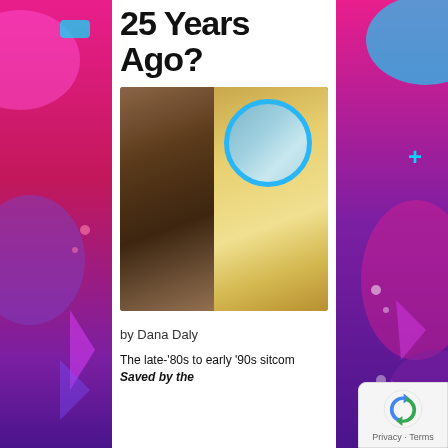25 Years Ago?
[Figure (photo): Side-by-side comparison photo: young woman with curly dark hair in a black jacket (left), older woman with short dark hair in a yellow sweater (right), with a blue circle overlay on the newer photo]
by Dana Daly
The late-'80s to early '90s sitcom Saved by the